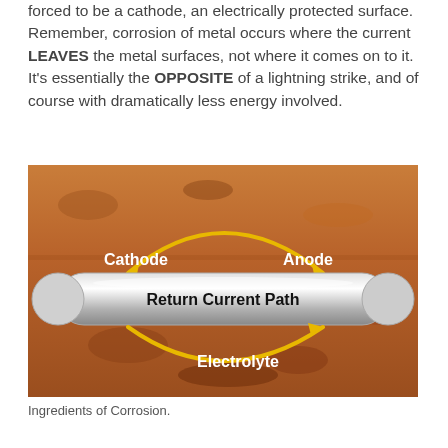forced to be a cathode, an electrically protected surface. Remember, corrosion of metal occurs where the current LEAVES the metal surfaces, not where it comes on to it. It's essentially the OPPOSITE of a lightning strike, and of course with dramatically less energy involved.
[Figure (illustration): Diagram showing ingredients of corrosion: a metal pipe labeled 'Return Current Path' buried in soil (electrolyte). Curved yellow arrows above and below the pipe indicate current flow between the Cathode (left) and Anode (right) through the Electrolyte.]
Ingredients of Corrosion.